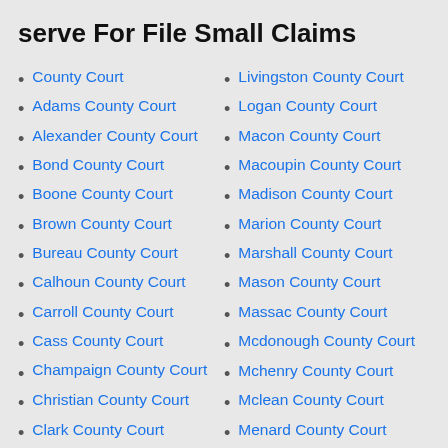serve For File Small Claims
County Court
Adams County Court
Alexander County Court
Bond County Court
Boone County Court
Brown County Court
Bureau County Court
Calhoun County Court
Carroll County Court
Cass County Court
Champaign County Court
Christian County Court
Clark County Court
Clay County Court
Clinton County Court
Livingston County Court
Logan County Court
Macon County Court
Macoupin County Court
Madison County Court
Marion County Court
Marshall County Court
Mason County Court
Massac County Court
Mcdonough County Court
Mchenry County Court
Mclean County Court
Menard County Court
Mercer County Court
Monroe County Court